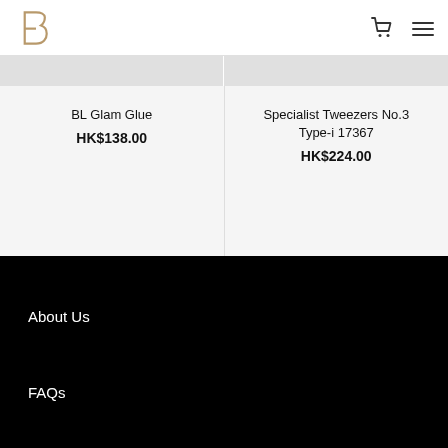BL logo, cart icon, menu icon
BL Glam Glue
HK$138.00
Specialist Tweezers No.3 Type-i 17367
HK$224.00
About Us
FAQs